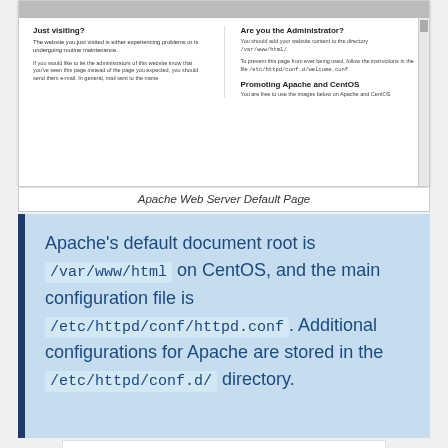[Figure (screenshot): Screenshot of Apache Web Server Default Page showing 'Just visiting?' and 'Are you the Administrator?' sections with configuration file paths mentioned]
Apache Web Server Default Page
Apache's default document root is /var/www/html on CentOS, and the main configuration file is /etc/httpd/conf/httpd.conf. Additional configurations for Apache are stored in the /etc/httpd/conf.d/ directory.
[Figure (screenshot): Advertisement: Topgolf® - Family Fun, Topgolf]